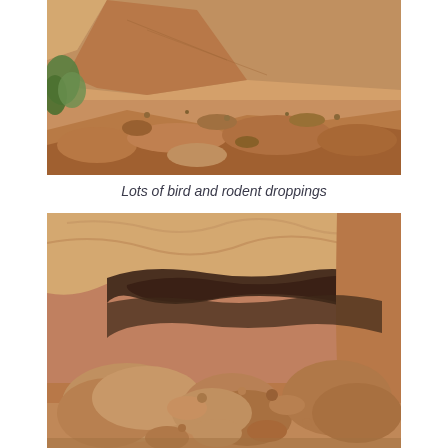[Figure (photo): Outdoor photo of red sandstone rocks and rubble on a sandy slope, with some green vegetation visible on the left side. The scene shows collapsed or eroded red rock formations.]
Lots of bird and rodent droppings
[Figure (photo): Interior view of a rock shelter or alcove with large reddish-brown boulders scattered on the ground. The curved sandstone ceiling of the alcove is visible above, and the space shows many fallen rocks and debris.]